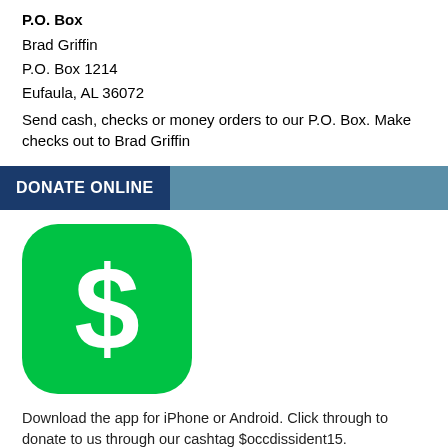P.O. Box
Brad Griffin
P.O. Box 1214
Eufaula, AL 36072
Send cash, checks or money orders to our P.O. Box. Make checks out to Brad Griffin
DONATE ONLINE
[Figure (logo): Cash App green rounded square icon with white dollar sign]
Download the app for iPhone or Android. Click through to donate to us through our cashtag $occdissident15.